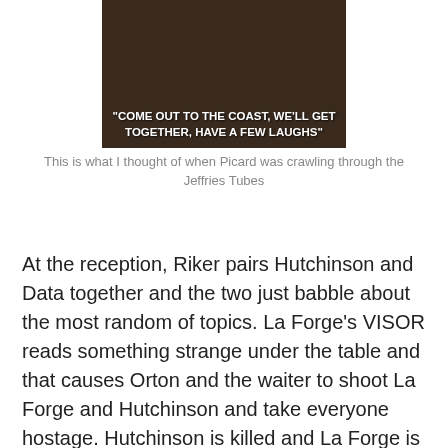[Figure (screenshot): Dark movie still with white bold text overlay reading: "COME OUT TO THE COAST, WE'LL GET TOGETHER, HAVE A FEW LAUGHS"]
This is what I thought of when Picard was crawling through the Jeffries Tubes
At the reception, Riker pairs Hutchinson and Data together and the two just babble about the most random of topics. La Forge’s VISOR reads something strange under the table and that causes Orton and the waiter to shoot La Forge and Hutchinson and take everyone hostage. Hutchinson is killed and La Forge is badly hurt. Dr. Crusher modifies La Forge’s VISOR so that everyone, except for Data, collapses so Data can try to save the day. Just then, Data hears Picard’s cry for help, shuts down the array, and inquires about the ship that’s escaping… which then explodes. Back on the Enterprise, Worf finds Picard’s saddle and all is well in